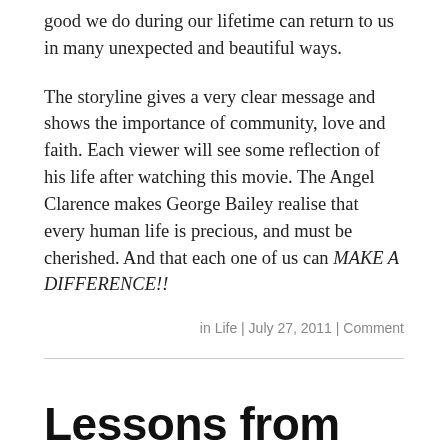good we do during our lifetime can return to us in many unexpected and beautiful ways.
The storyline gives a very clear message and shows the importance of community, love and faith. Each viewer will see some reflection of his life after watching this movie. The Angel Clarence makes George Bailey realise that every human life is precious, and must be cherished. And that each one of us can MAKE A DIFFERENCE!!
in Life | July 27, 2011 | Comment
Lessons from the movie “Peaceful Warrior”